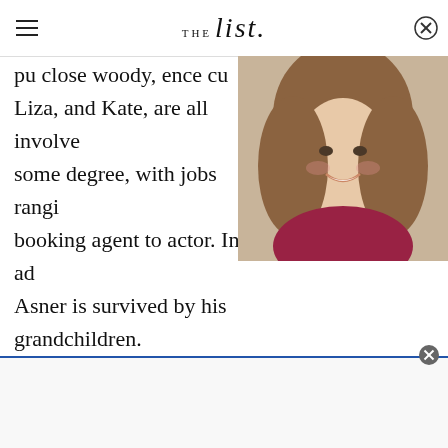THE list
pu close woody, ence cu Liza, and Kate, are all involved some degree, with jobs ranging booking agent to actor. In ad Asner is survived by his grandchildren.
[Figure (photo): Video thumbnail showing a smiling woman with brown hair, with a play button overlay]
[Figure (other): Advertisement bar at the bottom of the page]